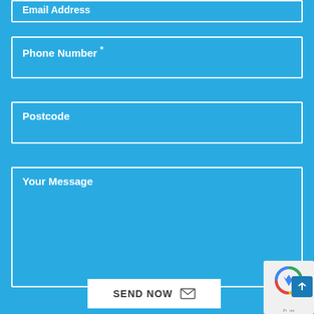Email Address
Phone Number *
Postcode
Your Message
SEND NOW